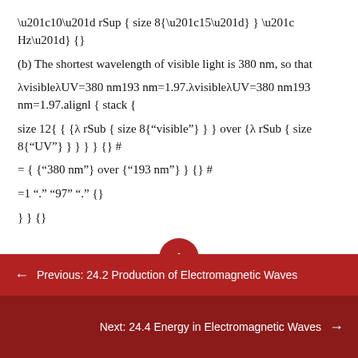“10” rSup { size 8{“15”} } “ Hz”} {}
(b) The shortest wavelength of visible light is 380 nm, so that
λvisibleλUV=380 nm193 nm=1.97.λvisibleλUV=380 nm193 nm=1.97.alignl { stack {
size 12{ { {λ rSub { size 8{“visible”} } } over {λ rSub { size 8{“UV”} } } } } {} #
= { {“380 nm”} over {“193 nm”} } {} #
=1 “.” “97” “.” {}
} } {}
Previous: 24.2 Production of Electromagnetic Waves
Next: 24.4 Energy in Electromagnetic Waves